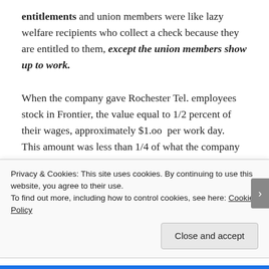entitlements and union members were like lazy welfare recipients who collect a check because they are entitled to them, except the union members show up to work.
When the company gave Rochester Tel. employees stock in Frontier, the value equal to 1/2 percent of their wages, approximately $1.oo per work day. This amount was less than 1/4 of what the company had been putting into the traditional defined-benefit pension, which carried no risk for workers and since 1974 had been guaranteed by the federal government. If this plan was in effect from
Privacy & Cookies: This site uses cookies. By continuing to use this website, you agree to their use.
To find out more, including how to control cookies, see here: Cookie Policy